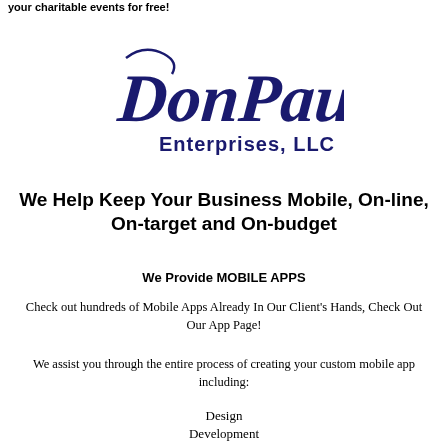your charitable events for free!
[Figure (logo): DonPaul Enterprises, LLC logo in dark navy blue script font]
We Help Keep Your Business Mobile, On-line, On-target and On-budget
We Provide MOBILE APPS
Check out hundreds of Mobile Apps Already In Our Client's Hands, Check Out Our App Page!
We assist you through the entire process of creating your custom mobile app including:
Design
Development
Training